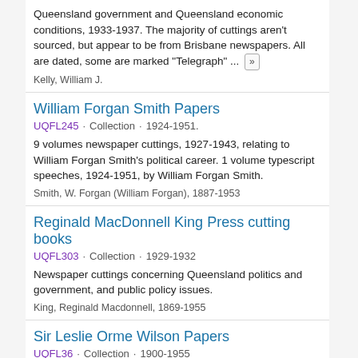Queensland government and Queensland economic conditions, 1933-1937. The majority of cuttings aren't sourced, but appear to be from Brisbane newspapers. All are dated, some are marked "Telegraph" ...
Kelly, William J.
William Forgan Smith Papers
UQFL245 · Collection · 1924-1951.
9 volumes newspaper cuttings, 1927-1943, relating to William Forgan Smith's political career. 1 volume typescript speeches, 1924-1951, by William Forgan Smith.
Smith, W. Forgan (William Forgan), 1887-1953
Reginald MacDonnell King Press cutting books
UQFL303 · Collection · 1929-1932
Newspaper cuttings concerning Queensland politics and government, and public policy issues.
King, Reginald Macdonnell, 1869-1955
Sir Leslie Orme Wilson Papers
UQFL36 · Collection · 1900-1955
Personal and official correspondence incoming and outgoing;